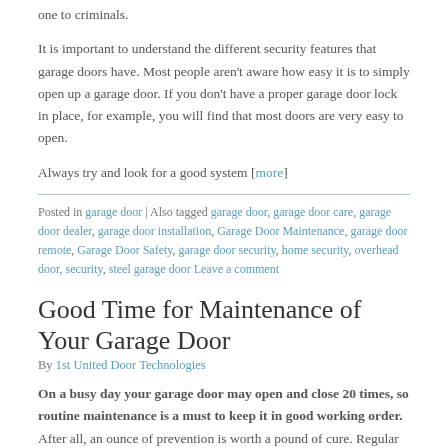one to criminals.
It is important to understand the different security features that garage doors have. Most people aren't aware how easy it is to simply open up a garage door. If you don't have a proper garage door lock in place, for example, you will find that most doors are very easy to open.
Always try and look for a good system [more]
Posted in garage door | Also tagged garage door, garage door care, garage door dealer, garage door installation, Garage Door Maintenance, garage door remote, Garage Door Safety, garage door security, home security, overhead door, security, steel garage door Leave a comment
Good Time for Maintenance of Your Garage Door
By 1st United Door Technologies
On a busy day your garage door may open and close 20 times, so routine maintenance is a must to keep it in good working order. After all, an ounce of prevention is worth a pound of cure. Regular garage door cleaning and maintenance will guarantee a great look and longer life of your door.